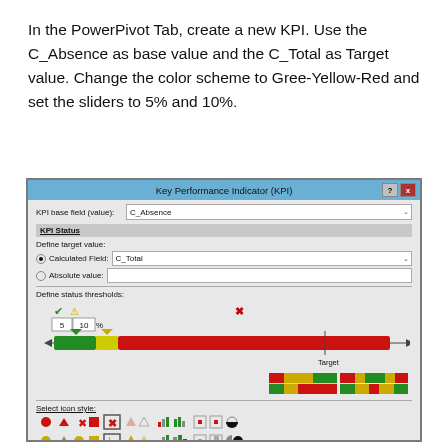In the PowerPivot Tab, create a new KPI. Use the C_Absence as base value and the C_Total as Target value. Change the color scheme to Gree-Yellow-Red and set the sliders to 5% and 10%.
[Figure (screenshot): Key Performance Indicator (KPI) dialog box showing KPI base field set to C_Absence, Calculated Field set to C_Total, Define status thresholds slider set to 5 and 10%, Green-Yellow-Red color bar, color scheme swatches, and icon style selection grid.]